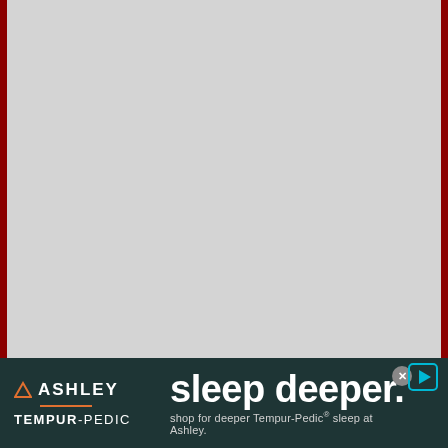[Figure (photo): Large light gray placeholder image area with dark red/maroon left and right borders]
[Figure (advertisement): Ashley Furniture and Tempur-Pedic advertisement banner. Dark teal background. Left side shows Ashley logo (orange triangle, ASHLEY text, orange line, TEMPUR-PEDIC text). Right side shows large text 'sleep deeper.' and smaller text 'shop for deeper Tempur-Pedic® sleep at Ashley.' A close button (X) and play button appear in top right corner.]